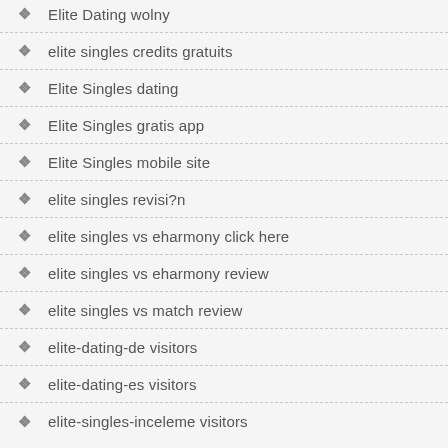Elite Dating wolny
elite singles credits gratuits
Elite Singles dating
Elite Singles gratis app
Elite Singles mobile site
elite singles revisi?n
elite singles vs eharmony click here
elite singles vs eharmony review
elite singles vs match review
elite-dating-de visitors
elite-dating-es visitors
elite-singles-inceleme visitors